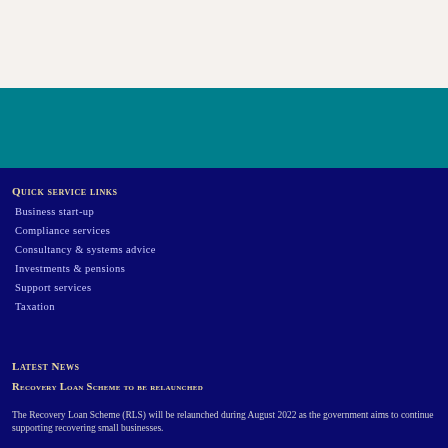Quick service links
Business start-up
Compliance services
Consultancy & systems advice
Investments & pensions
Support services
Taxation
Latest News
Recovery Loan Scheme to be relaunched
The Recovery Loan Scheme (RLS) will be relaunched during August 2022 as the government aims to continue supporting recovering small businesses.